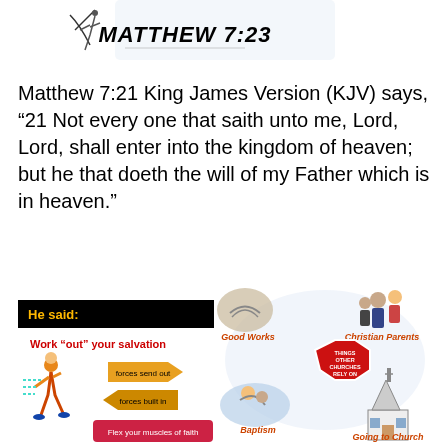[Figure (illustration): Top image showing text 'MATTHEW 7:23' in bold italic with a figure/bird illustration to the left]
Matthew 7:21 King James Version (KJV) says, “21 Not every one that saith unto me, Lord, Lord, shall enter into the kingdom of heaven; but he that doeth the will of my Father which is in heaven.”
[Figure (infographic): Infographic with black banner 'He said:' and below it a runner with text 'Work "out" your salvation', arrows labeled 'forces send out' and 'forces built in', and button 'Flex your muscles of faith']
[Figure (infographic): Infographic showing four elements around a central stop sign: Good Works (hands image), Christian Parents (people image), Baptism (baptism scene), Going to Church (church image), with center text 'THINGS OTHER CHURCHES RELY ON']